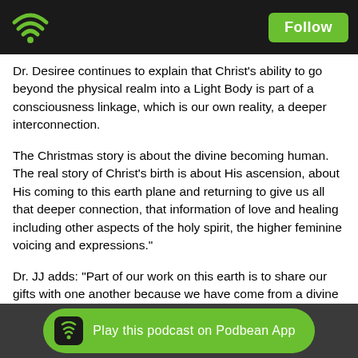Podbean podcast app header with WiFi logo and Follow button
Dr. Desiree continues to explain that Christ’s ability to go beyond the physical realm into a Light Body is part of a consciousness linkage, which is our own reality, a deeper interconnection.
The Christmas story is about the divine becoming human. The real story of Christ’s birth is about His ascension, about His coming to this earth plane and returning to give us all that deeper connection, that information of love and healing including other aspects of the holy spirit, the higher feminine voicing and expressions.”
Dr. JJ adds: “Part of our work on this earth is to share our gifts with one another because we have come from a divine family and we also, will return. The human can be raised to become divine, like a diamond vehicle, a blessed vehicle. The divine family is teaching us the story of Adam and Eve a… Christma… h God …
[Figure (infographic): Green rounded button with Podbean WiFi icon and text 'Play this podcast on Podbean App']